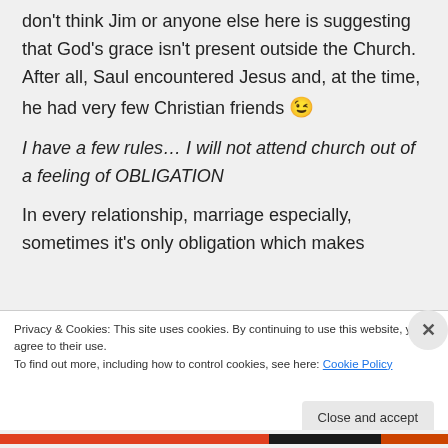don't think Jim or anyone else here is suggesting that God's grace isn't present outside the Church. After all, Saul encountered Jesus and, at the time, he had very few Christian friends 😉
I have a few rules… I will not attend church out of a feeling of OBLIGATION
In every relationship, marriage especially, sometimes it's only obligation which makes
Privacy & Cookies: This site uses cookies. By continuing to use this website, you agree to their use. To find out more, including how to control cookies, see here: Cookie Policy
Close and accept